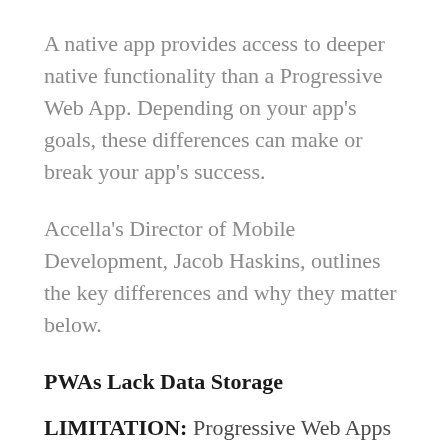A native app provides access to deeper native functionality than a Progressive Web App. Depending on your app's goals, these differences can make or break your app's success.
Accella's Director of Mobile Development, Jacob Haskins, outlines the key differences and why they matter below.
PWAs Lack Data Storage
LIMITATION: Progressive Web Apps limit offline data storage to 50Mb, and persistence of that data is not guaranteed. The phone will although sometimes a phone will grab space